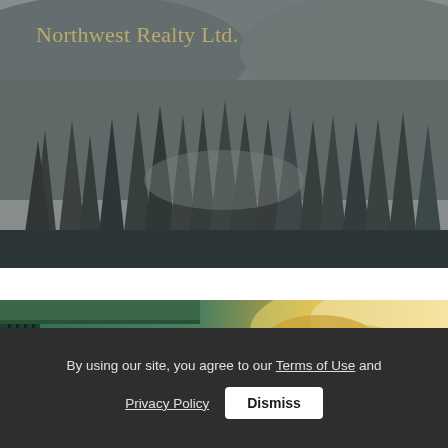[Figure (photo): Aerial black and white photograph of a dense coniferous forest with hills and a valley in the background]
Northwest Realty Ltd.
[Figure (photo): Partial view of a building with a green roof/overhang and warm sunlight through trees in background]
By using our site, you agree to our Terms of Use and Privacy Policy
Dismiss